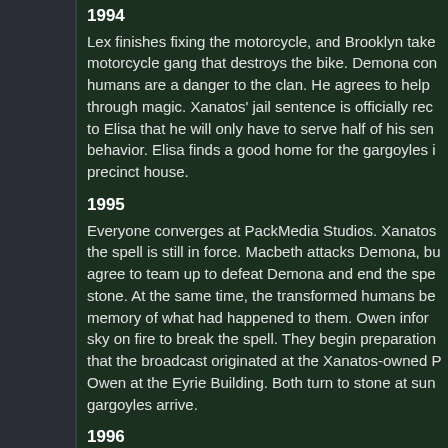1994
Lex finishes fixing the motorcycle, and Brooklyn take motorcycle gang that destroys the bike. Demona con humans are a danger to the clan. He agrees to help through magic. Xanatos' jail sentence is officially rec to Elisa that he will only have to serve half of his sen behavior. Elisa finds a good home for the gargoyles i precinct house.
1995
Everyone converges at PackMedia Studios. Xanatos the spell is still in force. Macbeth attacks Demona, bu agree to team up to defeat Demona and end the spe stone. At the same time, the transformed humans be memory of what had happened to them. Owen infor sky on fire to break the spell. They begin preparation that the broadcast originated at the Xanatos-owned P Owen at the Eyrie Building. Both turn to stone at sun gargoyles arrive.
1996
5:38am EST - [withheld]